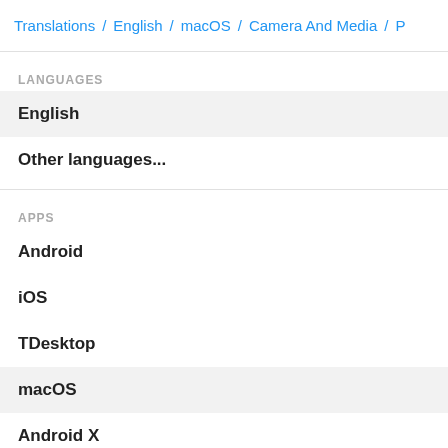Translations / English / macOS / Camera And Media / P
LANGUAGES
English
Other languages...
APPS
Android
iOS
TDesktop
macOS
Android X
Emoji
Search translations and keys
PeerMedia.Media
[Figure (screenshot): App screenshot showing a macOS media sharing interface with sidebar icons and a Shared Media view with tabs for Media, Docs, Links, and a music note icon in the center content area]
CAMERA AND MEDIA